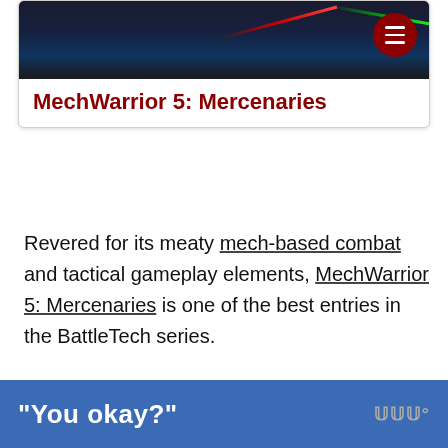[Figure (screenshot): Top card with a dark game screenshot showing red and green laser beams, a dark red circular menu button in the top right corner, and the title MechWarrior 5: Mercenaries below the image.]
MechWarrior 5: Mercenaries
Revered for its meaty mech-based combat and tactical gameplay elements, MechWarrior 5: Mercenaries is one of the best entries in the BattleTech series.
While the base game boasts a challenging campaign with as much wanton destruction as one would want, players can take things even further by installing mods.
[Figure (screenshot): Blue advertisement banner with the text "You okay?" in white bold font and a small logo on the right.]